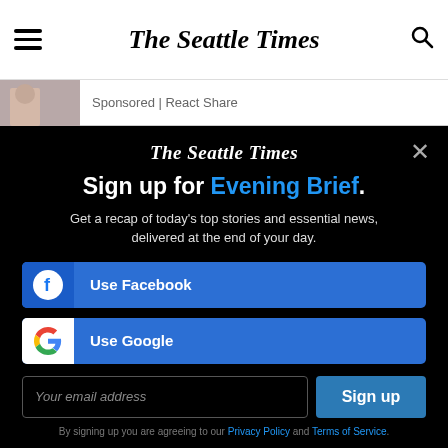The Seattle Times
Sponsored | React Share
The Seattle Times
Sign up for Evening Brief.
Get a recap of today's top stories and essential news, delivered at the end of your day.
Use Facebook
Use Google
Your email address
Sign up
By signing up you are agreeing to our Privacy Policy and Terms of Service.